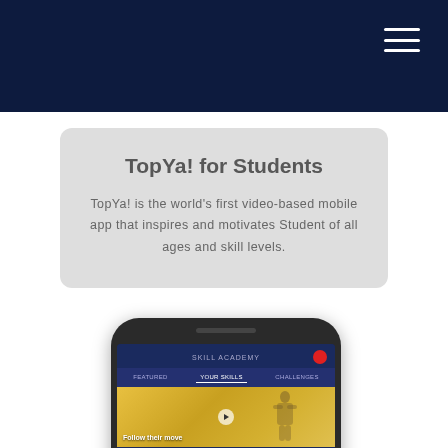TopYa! for Students
TopYa! is the world's first video-based mobile app that inspires and motivates Student of all ages and skill levels.
[Figure (screenshot): Screenshot of the TopYa! mobile app showing the Skill Academy screen with video thumbnails of athletic activities including soccer/sports training content.]